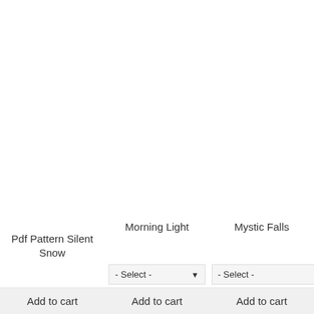Pdf Pattern Silent Snow
Morning Light
Mystic Falls
- Select -
- Select -
Add to cart
Add to cart
Add to cart